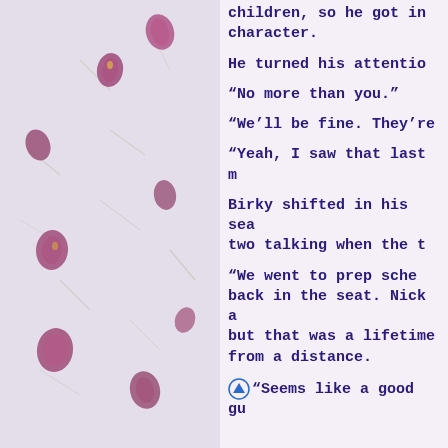[Figure (illustration): Decorative background image with pressed flower petals (dark pink/magenta heart-shaped petals) and grass blades scattered on a light textured surface.]
children, so he got in character.
He turned his attentio
“No more than you.”
“We’ll be fine. They’re
“Yeah, I saw that last m
Birky shifted in his sea two talking when the t
“We went to prep sche back in the seat. Nick a but that was a lifetime from a distance.
“Seems like a good gu